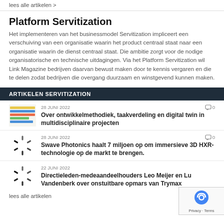lees alle artikelen >
Platform Servitization
Het implementeren van het businessmodel Servitization impliceert een verschuiving van een organisatie waarin het product centraal staat naar een organisatie waarin de dienst centraal staat. Die ambitie zorgt voor de nodige organisatorische en technische uitdagingen. Via het Platform Servitization wil Link Magazine bedrijven daarvan bewust maken door te kennis vergaren en die te delen zodat bedrijven die overgang duurzaam en winstgevend kunnen maken.
ARTIKELEN SERVITIZATION
28 JUNI 2022
Over ontwikkelmethodiek, taakverdeling en digital twin in multidisciplinaire projecten
◻ 0
28 JUNI 2022
Swave Photonics haalt 7 miljoen op om immersieve 3D HXR-technologie op de markt te brengen.
◻ 0
22 JUNI 2022
Directieleden-medeaandeelhouders Leo Meijer en Lu Vandenberk over onstuitbare opmars van Trymax
lees alle artikelen